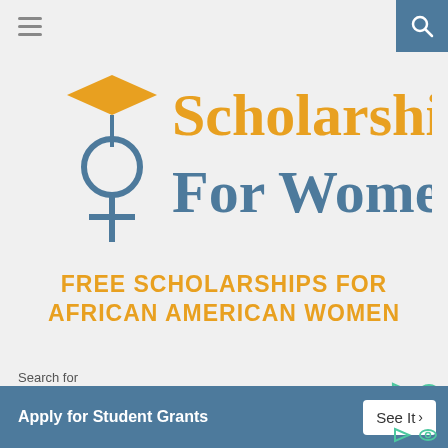Navigation bar with hamburger menu and search icon
[Figure (logo): Scholarships For Women logo — orange diamond graduation cap over blue female symbol, with text 'Scholarships For Women' in orange and blue]
FREE SCHOLARSHIPS FOR AFRICAN AMERICAN WOMEN
African-American women who live in the United Sta...
Search for
[Figure (screenshot): Search input box with orange border and graduation cap icon inside]
Search for
Apply for Student Grants
See It >